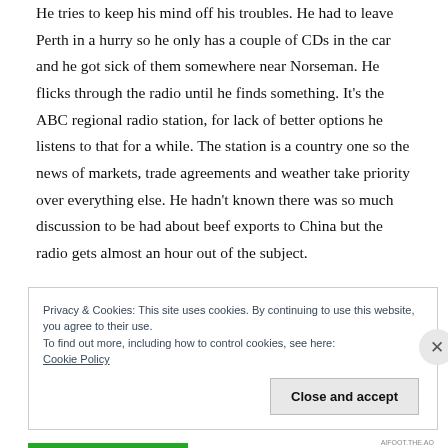He tries to keep his mind off his troubles. He had to leave Perth in a hurry so he only has a couple of CDs in the car and he got sick of them somewhere near Norseman. He flicks through the radio until he finds something. It's the ABC regional radio station, for lack of better options he listens to that for a while. The station is a country one so the news of markets, trade agreements and weather take priority over everything else. He hadn't known there was so much discussion to be had about beef exports to China but the radio gets almost an hour out of the subject.
Privacy & Cookies: This site uses cookies. By continuing to use this website, you agree to their use.
To find out more, including how to control cookies, see here:
Cookie Policy
Close and accept
AIFOOT.THE.AO